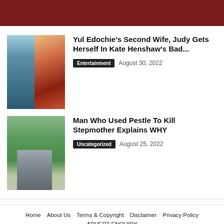Yul Edochie’s Second Wife, Judy Gets Herself In Kate Henshaw’s Bad...
Entertainment   August 30, 2022
Man Who Used Pestle To Kill Stepmother Explains WHY
Uncategorized   August 25, 2022
Home   About Us   Terms & Copyright   Disclaimer   Privacy Policy   ADVERT ENQUIRY   © Copyright Ladunliadi 2021